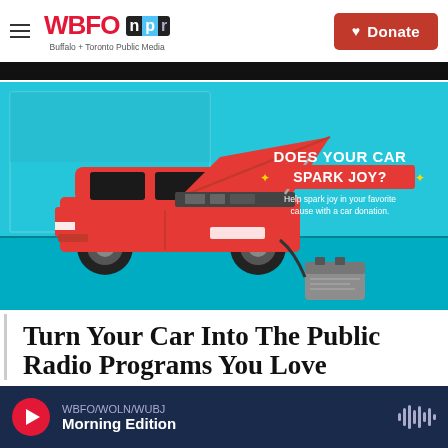WBFO NPR — Buffalo + Toronto Public Media — Donate
[Figure (illustration): Infographic showing a red van with its hood open and a car battery on the ground beside it. Text reads: DOES YOUR CAR SPARK JOY? Help spark joy in your favorite cause with a car donation.]
Turn Your Car Into The Public Radio Programs You Love
WBFO/WOLN/WUBJ Morning Edition